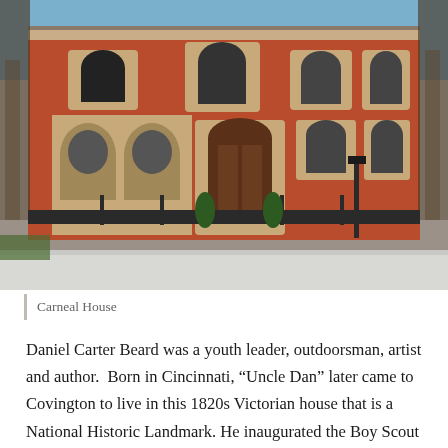[Figure (photo): Photograph of Carneal House, a red brick Victorian building with stone trim, arched windows, bay window, and ornate ironwork fence. Bare winter trees flank the building under a blue sky with snow on the ground.]
Carneal House
Daniel Carter Beard was a youth leader, outdoorsman, artist and author. Born in Cincinnati, “Uncle Dan” later came to Covington to live in this 1820s Victorian house that is a National Historic Landmark. He inaugurated the Boy Scout movement in 1905, and was one of the first National Commissioners of the Boy Scouts of America. He...